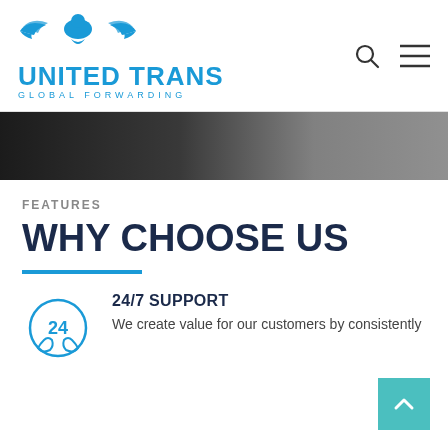[Figure (logo): United Trans Global Forwarding logo with eagle/bird icon and blue text]
[Figure (photo): Dark horizontal image strip, appears to be a warehouse or truck interior]
FEATURES
WHY CHOOSE US
24/7 SUPPORT
We create value for our customers by consistently